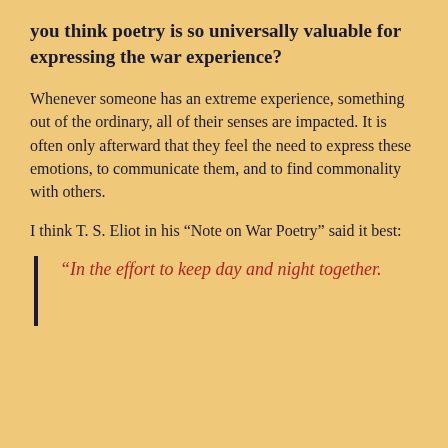you think poetry is so universally valuable for expressing the war experience?
Whenever someone has an extreme experience, something out of the ordinary, all of their senses are impacted. It is often only afterward that they feel the need to express these emotions, to communicate them, and to find commonality with others.
I think T. S. Eliot in his “Note on War Poetry” said it best:
“In the effort to keep day and night together.